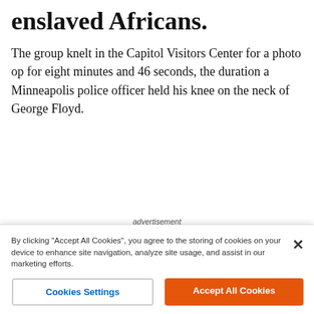enslaved Africans.
The group knelt in the Capitol Visitors Center for a photo op for eight minutes and 46 seconds, the duration a Minneapolis police officer held his knee on the neck of George Floyd.
[Figure (infographic): Advertisement section with three thumbnail image links: 'Photos of Suzanne Pleshette That Went Too Far' (Historybyday), 'Dua Lipa Has to Deal With the Consequences' (Musicoholics), 'She Is One Of The Largest']
By clicking "Accept All Cookies", you agree to the storing of cookies on your device to enhance site navigation, analyze site usage, and assist in our marketing efforts.
Cookies Settings
Accept All Cookies